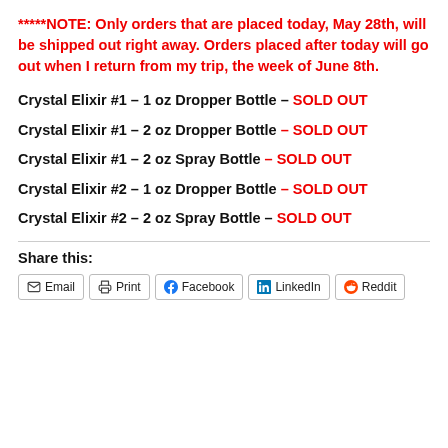*****NOTE: Only orders that are placed today, May 28th, will be shipped out right away. Orders placed after today will go out when I return from my trip, the week of June 8th.
Crystal Elixir #1 – 1 oz Dropper Bottle – SOLD OUT
Crystal Elixir #1 – 2 oz Dropper Bottle – SOLD OUT
Crystal Elixir #1 – 2 oz Spray Bottle – SOLD OUT
Crystal Elixir #2 – 1 oz Dropper Bottle – SOLD OUT
Crystal Elixir #2 – 2 oz Spray Bottle – SOLD OUT
Share this:
Email | Print | Facebook | LinkedIn | Reddit